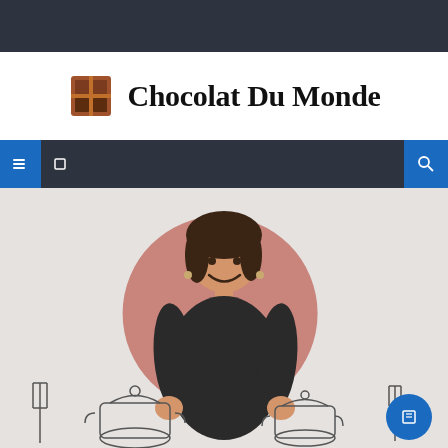Chocolat Du Monde
Navigation bar
[Figure (photo): A smiling woman with dark hair wearing a black shirt, posed in front of a large pink circle on a light gray background. Around her at the bottom are line-art illustrations of cooking utensils including a fork, pots, and plates. A blue circle icon appears at the bottom right.]